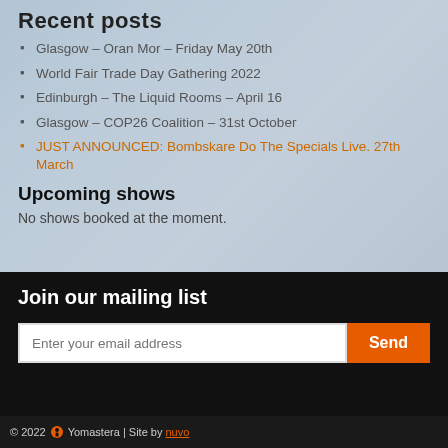Recent posts
Glasgow – Oran Mor – Friday May 20th
World Fair Trade Day Gathering 2022
Edinburgh – The Liquid Rooms – April 16
Glasgow – COP26 Coalition – 31st October
JUST ANNOUNCED: Bombskare Do The Specials Live. 27th March
Upcoming shows
No shows booked at the moment.
Join our mailing list
Enter your email address
© 2022  Yomastera | Site by nuvo